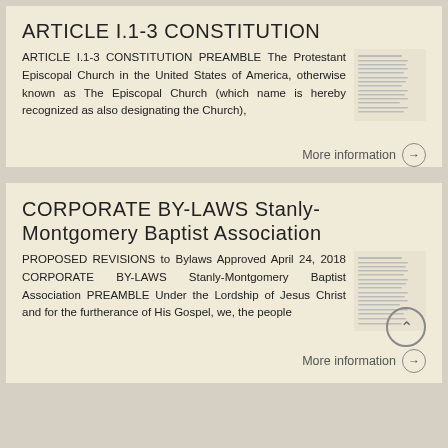ARTICLE I.1-3 CONSTITUTION
ARTICLE I.1-3 CONSTITUTION PREAMBLE The Protestant Episcopal Church in the United States of America, otherwise known as The Episcopal Church (which name is hereby recognized as also designating the Church),
[Figure (screenshot): Thumbnail image of a document page with dense text lines]
More information →
CORPORATE BY-LAWS Stanly-Montgomery Baptist Association
PROPOSED REVISIONS to Bylaws Approved April 24, 2018 CORPORATE BY-LAWS Stanly-Montgomery Baptist Association PREAMBLE Under the Lordship of Jesus Christ and for the furtherance of His Gospel, we, the people
[Figure (screenshot): Thumbnail image of a document page with dense text lines]
More information →